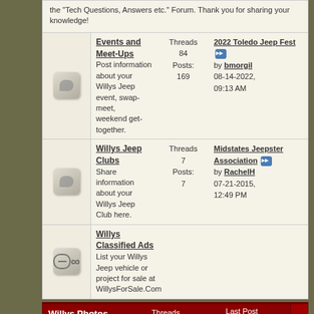the "Tech Questions, Answers etc." Forum. Thank you for sharing your knowledge!
Events and Meet-Ups — Threads: 84, Posts: 169. Post information about your Willys Jeep event, swap-meet, weekend get-together. Last post: 2022 Toledo Jeep Fest by bmorgil 08-14-2022, 09:13 AM
Willys Jeep Clubs — Threads: 7, Posts: 7. Share information about your Willys Jeep Club here. Last post: Midstates Jeepster Association by RachelH 07-21-2015, 12:49 PM
Willys Classified Ads — List your Willys Jeep vehicle or project for sale at WillysForSale.Com
Willys Photos — Threads / Posts — Last Post
Gallery — Show off your current project, completed restoration, or custom build.
Forum News and Help Section — Threads / Posts — Last Post